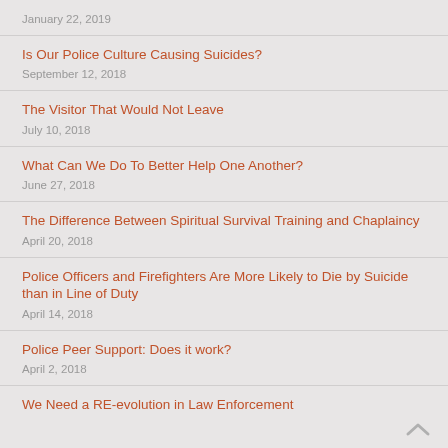January 22, 2019
Is Our Police Culture Causing Suicides?
September 12, 2018
The Visitor That Would Not Leave
July 10, 2018
What Can We Do To Better Help One Another?
June 27, 2018
The Difference Between Spiritual Survival Training and Chaplaincy
April 20, 2018
Police Officers and Firefighters Are More Likely to Die by Suicide than in Line of Duty
April 14, 2018
Police Peer Support: Does it work?
April 2, 2018
We Need a RE-evolution in Law Enforcement